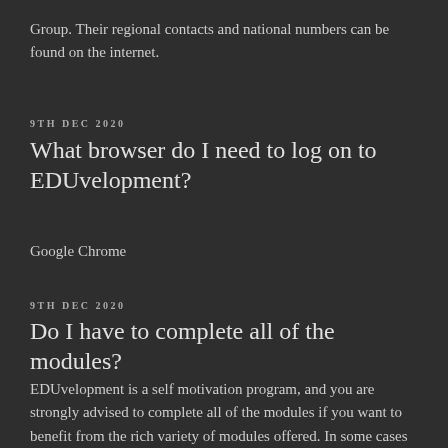Group. Their regional contacts and national numbers can be found on the internet.
9TH DEC 2020
What browser do I need to log on to EDUvelopment?
Google Chrome
9TH DEC 2020
Do I have to complete all of the modules?
EDUvelopment is a self motivation program, and you are strongly advised to complete all of the modules if you want to benefit from the rich variety of modules offered. In some cases you may not be able to progress to the